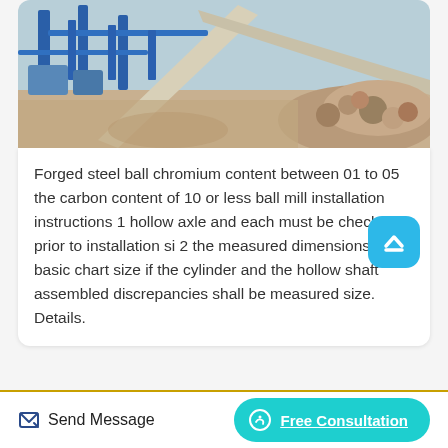[Figure (photo): Aerial/overhead view of an industrial mining or aggregate processing facility with blue conveyor belts and crushers, large rocks/aggregate pile visible on the right side.]
Forged steel ball chromium content between 01 to 05 the carbon content of 10 or less ball mill installation instructions 1 hollow axle and each must be checked prior to installation si 2 the measured dimensions and basic chart size if the cylinder and the hollow shaft assembled discrepancies shall be measured size. Details.
Send Message   Free Consultation